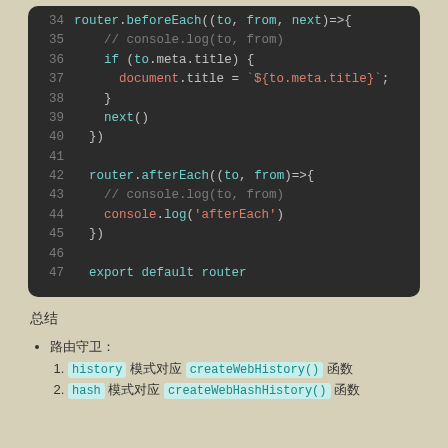[Figure (screenshot): Dark-themed code editor screenshot showing JavaScript Vue Router code, lines 34-47. Includes beforeEach and afterEach router hooks, and export default router statement.]
总结
路由守卫：
1. history 模式对应 createWebHistory() 函数
2. hash 模式对应 createWebHashHistory() 函数